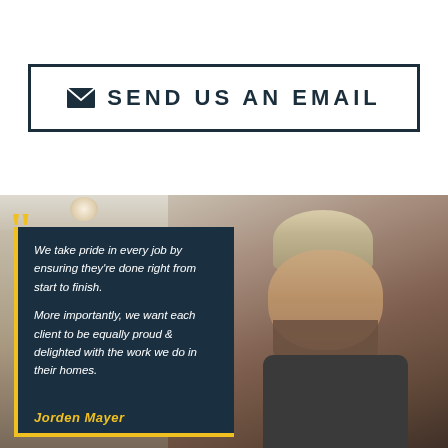[Figure (other): Send Us An Email button with envelope icon, dark navy border on white background]
[Figure (photo): Photo of a man (Jorden Mayer) wearing an MCS cap and dark polo shirt, smiling, in a home interior. Overlaid with a dark teal quote box with yellow border containing a testimonial quote in white italic text. Large yellow quotation marks top-left. Author name 'Jorden Mayer' in yellow at bottom.]